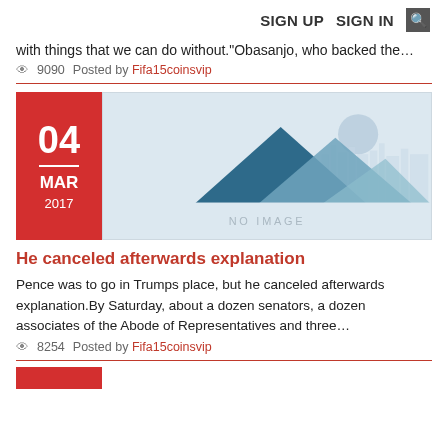SIGN UP   SIGN IN  🔍
with things that we can do without."Obasanjo, who backed the…
👁 9090   Posted by Fifa15coinsvip
[Figure (illustration): Date badge showing 04 MAR 2017 in red box alongside a placeholder image with mountain/city skyline silhouette and NO IMAGE text]
He canceled afterwards explanation
Pence was to go in Trumps place, but he canceled afterwards explanation.By Saturday, about a dozen senators, a dozen associates of the Abode of Representatives and three…
👁 8254   Posted by Fifa15coinsvip